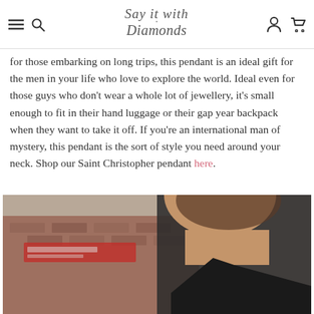Say it with Diamonds — navigation header
for those embarking on long trips, this pendant is an ideal gift for the men in your life who love to explore the world. Ideal even for those guys who don't wear a whole lot of jewellery, it's small enough to fit in their hand luggage or their gap year backpack when they want to take it off. If you're an international man of mystery, this pendant is the sort of style you need around your neck. Shop our Saint Christopher pendant here.
[Figure (photo): Close-up photo of a man's neck and lower face showing a beard, wearing a dark jacket and a thin gold chain necklace, with a blurred brick wall and red signage in the background.]